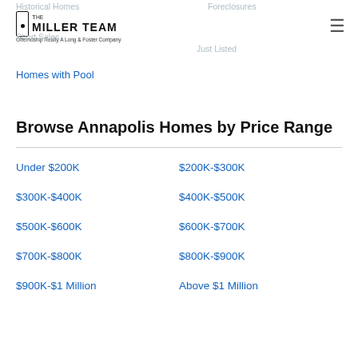Historical Homes
Foreclosures
Short Sales
Just Listed
[Figure (logo): The Miller Team logo - Offerndship Realty A Long & Foster Company]
Homes with Pool
Browse Annapolis Homes by Price Range
Under $200K
$200K-$300K
$300K-$400K
$400K-$500K
$500K-$600K
$600K-$700K
$700K-$800K
$800K-$900K
$900K-$1 Million
Above $1 Million